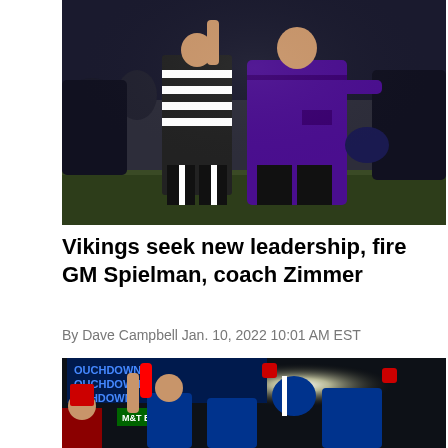[Figure (photo): A Minnesota Vikings head coach in a purple jacket speaking with a referee in a black and white striped shirt on the football field at night]
Vikings seek new leadership, fire GM Spielman, coach Zimmer
By Dave Campbell Jan. 10, 2022 10:01 AM EST
[Figure (photo): Buffalo Bills players in blue uniforms celebrating a touchdown, with fans in the background and a scoreboard showing TOUCHDOWN]